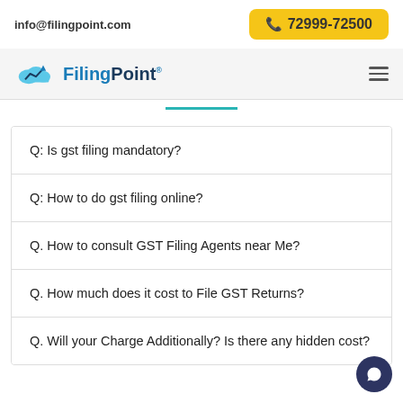info@filingpoint.com  📞 72999-72500
[Figure (logo): FilingPoint logo with cloud and upward arrow graphic, company name in blue]
Q: Is gst filing mandatory?
Q: How to do gst filing online?
Q. How to consult GST Filing Agents near Me?
Q. How much does it cost to File GST Returns?
Q. Will your Charge Additionally? Is there any hidden cost?